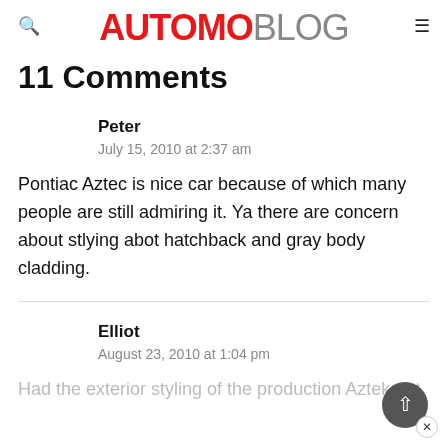AUTOMOBLOG
11 Comments
Peter
July 15, 2010 at 2:37 am
Pontiac Aztec is nice car because of which many people are still admiring it. Ya there are concern about stlying abot hatchback and gray body cladding.
Elliot
August 23, 2010 at 1:04 pm
Had the exterior styling of the production Aztek not